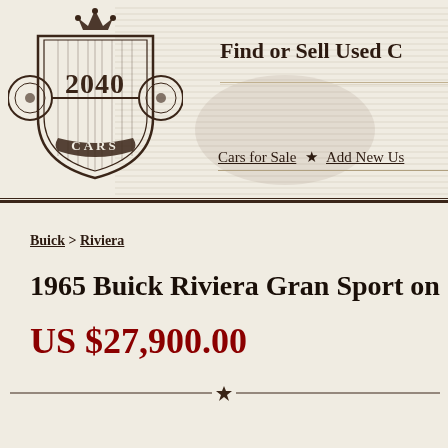[Figure (logo): 2040 Cars logo — shield shape with crown on top, two circular wheel-like elements on sides, '2040' text in center, 'CARS' on banner ribbon below, decorative vintage automotive style]
Find or Sell Used C
Cars for Sale ★ Add New Us
Buick > Riviera
1965 Buick Riviera Gran Sport on 2040 Cars
US $27,900.00